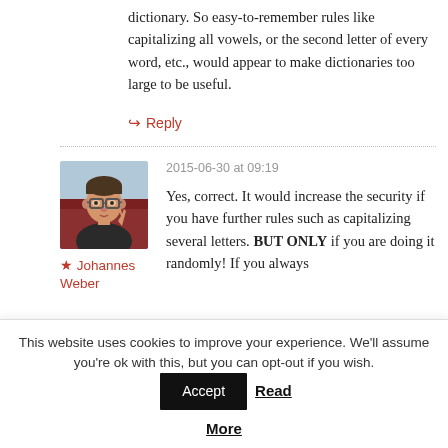dictionary. So easy-to-remember rules like capitalizing all vowels, or the second letter of every word, etc., would appear to make dictionaries too large to be useful.
↳ Reply
2015-06-30 at 09:19
[Figure (photo): Avatar photo of Johannes Weber, a man with glasses making a peace sign on an airplane]
★ Johannes Weber
Yes, correct. It would increase the security if you have further rules such as capitalizing several letters. BUT ONLY if you are doing it randomly! If you always
This website uses cookies to improve your experience. We'll assume you're ok with this, but you can opt-out if you wish. Accept Read More